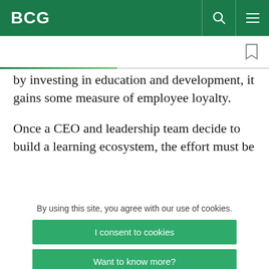BCG
by investing in education and development, it gains some measure of employee loyalty.
Once a CEO and leadership team decide to build a learning ecosystem, the effort must be
By using this site, you agree with our use of cookies.
I consent to cookies
Want to know more?
Read our Cookie Policy